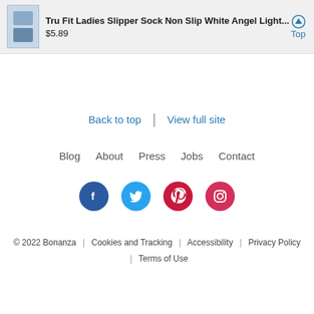Tru Fit Ladies Slipper Sock Non Slip White Angel Light... $5.89 Top
Back to top | View full site
Blog About Press Jobs Contact
[Figure (other): Social media icons: Facebook, Twitter, Pinterest, Instagram]
© 2022 Bonanza | Cookies and Tracking | Accessibility | Privacy Policy | Terms of Use